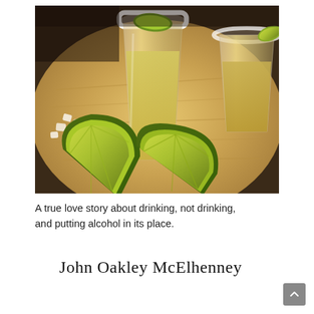[Figure (photo): Photograph of tequila shot glasses with salted rims and lime wedges on a wooden cutting board. The glasses contain amber/golden tequila and have lime slices on the rim. Large lime wedges are placed in front on the wooden board, along with rock salt crystals.]
A true love story about drinking, not drinking, and putting alcohol in its place.
John Oakley McElhenney